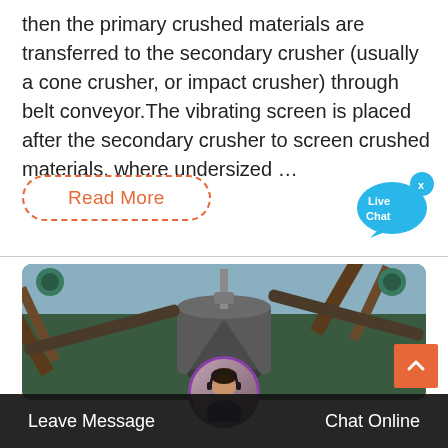then the primary crushed materials are transferred to the secondary crusher (usually a cone crusher, or impact crusher) through belt conveyor.The vibrating screen is placed after the secondary crusher to screen crushed materials, where undersized …
Read More
[Figure (illustration): Live Chat bubble icon in blue]
[Figure (photo): Industrial cone crusher machine on a construction/mining site with conveyor belt structures and forest/mountain background]
Leave Message
Chat Online